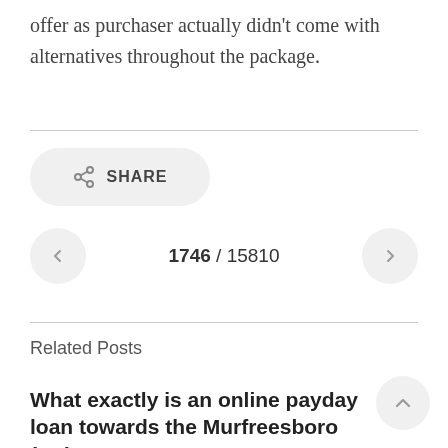offer as purchaser actually didn't come with alternatives throughout the package.
[Figure (other): Share button with share icon and SHARE label]
1746 / 15810
Related Posts
What exactly is an online payday loan towards the Murfreesboro (TN)?